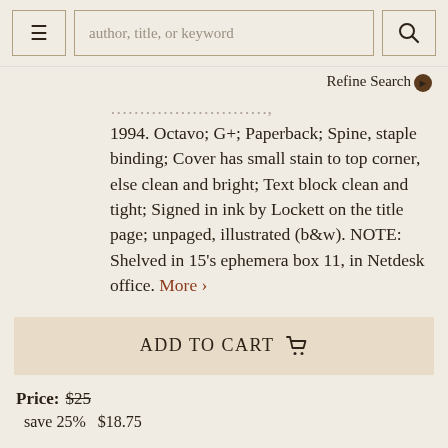author, title, or keyword | Refine Search
1994. Octavo; G+; Paperback; Spine, staple binding; Cover has small stain to top corner, else clean and bright; Text block clean and tight; Signed in ink by Lockett on the title page; unpaged, illustrated (b&w). NOTE: Shelved in 15's ephemera box 11, in Netdesk office. More >
ADD TO CART
Price: $25
save 25%   $18.75
Item Details
Ask a Question